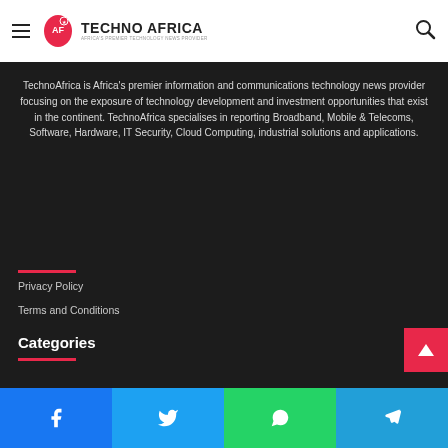TECHNO AFRICA — Africa's premier technology news provider
TechnoAfrica is Africa's premier information and communications technology news provider focusing on the exposure of technology development and investment opportunities that exist in the continent. TechnoAfrica specialises in reporting Broadband, Mobile & Telecoms, Software, Hardware, IT Security, Cloud Computing, industrial solutions and applications.
Privacy Policy
Terms and Conditions
Categories